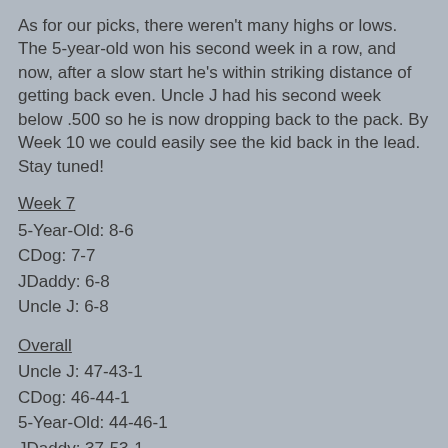As for our picks, there weren't many highs or lows.  The 5-year-old won his second week in a row, and now, after a slow start he's within striking distance of getting back even.  Uncle J had his second week below .500 so he is now dropping back to the pack.  By Week 10 we could easily see the kid back in the lead.  Stay tuned!
Week 7
5-Year-Old: 8-6
CDog: 7-7
JDaddy: 6-8
Uncle J: 6-8
Overall
Uncle J: 47-43-1
CDog: 46-44-1
5-Year-Old: 44-46-1
JDaddy: 37-53-1
Week 7 Picks